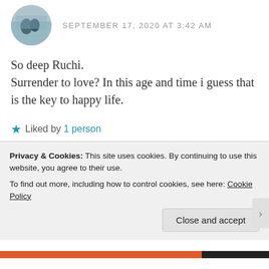SEPTEMBER 17, 2020 AT 3:42 AM
So deep Ruchi.
Surrender to love? In this age and time i guess that is the key to happy life.
★ Liked by 1person
Reply
Privacy & Cookies: This site uses cookies. By continuing to use this website, you agree to their use.
To find out more, including how to control cookies, see here: Cookie Policy